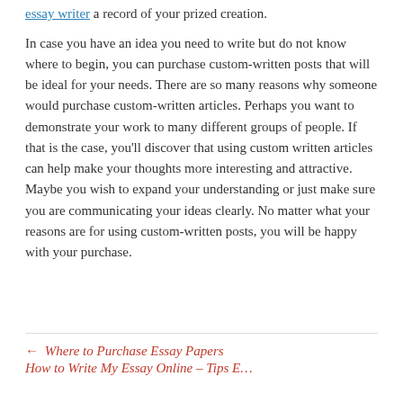essay writer a record of your prized creation.
In case you have an idea you need to write but do not know where to begin, you can purchase custom-written posts that will be ideal for your needs. There are so many reasons why someone would purchase custom-written articles. Perhaps you want to demonstrate your work to many different groups of people. If that is the case, you'll discover that using custom written articles can help make your thoughts more interesting and attractive. Maybe you wish to expand your understanding or just make sure you are communicating your ideas clearly. No matter what your reasons are for using custom-written posts, you will be happy with your purchase.
← Where to Purchase Essay Papers
How to Write My Essay Online – Tips E…